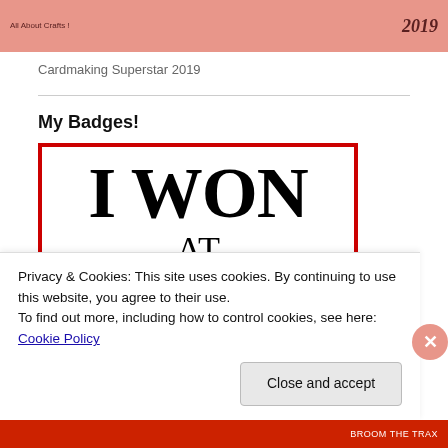[Figure (illustration): Pink/salmon colored banner header for a craft blog, with small text on left and '2019' in italic script on the right]
Cardmaking Superstar 2019
My Badges!
[Figure (illustration): Badge graphic with red border on white background. Large bold text reads 'I WON' and below it 'AT' in serif font, with partially visible text at the bottom cut off by image boundary]
Privacy & Cookies: This site uses cookies. By continuing to use this website, you agree to their use.
To find out more, including how to control cookies, see here: Cookie Policy
Close and accept